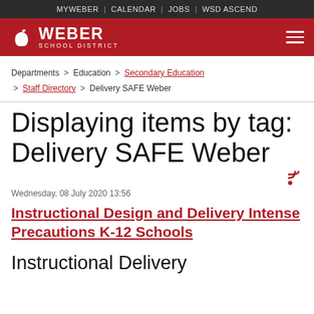MYWEBER | CALENDAR | JOBS | WSD ASCEND
[Figure (logo): Weber School District logo with apple icon and text on red background]
Departments > Education > Secondary Education > Staff Directory > Delivery SAFE Weber
Displaying items by tag: Delivery SAFE Weber
Wednesday, 08 July 2020 13:56
Instructional Design and Delivery Intense Precautions K-12 Schools
Instructional Delivery